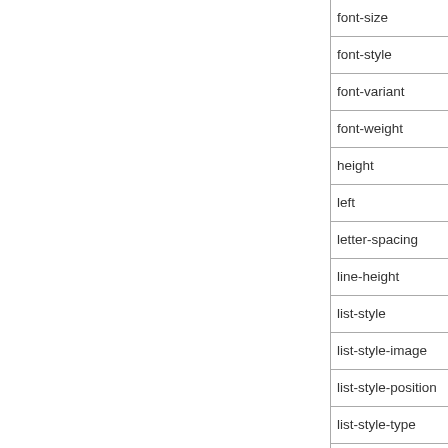| font-size |
| font-style |
| font-variant |
| font-weight |
| height |
| left |
| letter-spacing |
| line-height |
| list-style |
| list-style-image |
| list-style-position |
| list-style-type |
| margin |
| max-height |
| max-width |
| min-height |
| min-width |
| monochrome |